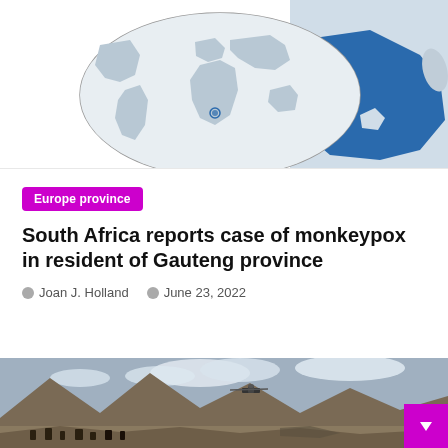[Figure (map): World map with South Africa highlighted, plus a zoomed-in map of South Africa with Gauteng province highlighted in dark blue. The world map is shown inside an oval/pill outline.]
Europe province
South Africa reports case of monkeypox in resident of Gauteng province
Joan J. Holland   June 23, 2022
[Figure (photo): Outdoor scene showing a mountainous arid landscape with a helicopter visible in the sky, people in the foreground, and dusty terrain.]